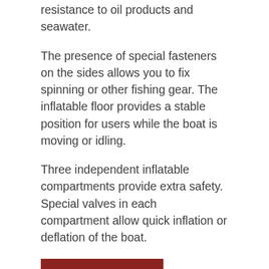resistance to oil products and seawater.
The presence of special fasteners on the sides allows you to fix spinning or other fishing gear. The inflatable floor provides a stable position for users while the boat is moving or idling.
Three independent inflatable compartments provide extra safety. Special valves in each compartment allow quick inflation or deflation of the boat.
See Best Price
You may also like: Best Portable Canopies